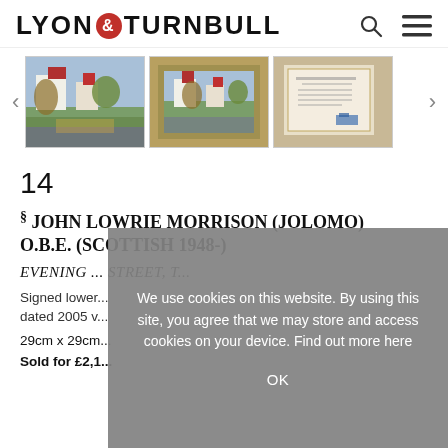LYON & TURNBULL
[Figure (photo): Three thumbnail images of artwork in a gallery strip with left/right navigation arrows]
14
§ JOHN LOWRIE MORRISON (JOLOMO) O.B.E. (SCOTTISH 1948-)
EVENING ... STREET, T...
Signed lower... dated 2005 v...
29cm x 29cm...
Sold for £2,1...
We use cookies on this website. By using this site, you agree that we may store and access cookies on your device. Find out more here
OK